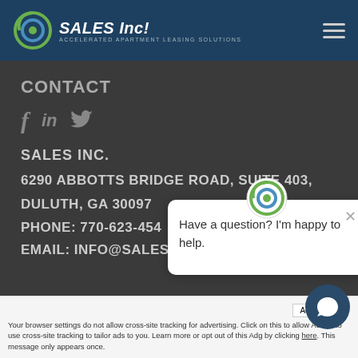SALES Inc! Accelerated Apartment Leasing Solutions
CONTACT
f  in  (twitter bird icon)
SALES INC.
6290 ABBOTTS BRIDGE ROAD, SUITE 403,
DULUTH, GA 30097
PHONE: 770-623-454
EMAIL: INFO@SALESINC.NET
[Figure (screenshot): Chat popup with SALES Inc logo and text: Have a question? I'm happy to help.]
Accept  x  Your browser settings do not allow cross-site tracking for advertising. Click on this to allow AdRoll to use cross-site tracking to tailor ads to you. Learn more or opt out of this by clicking here. This message only appears once.